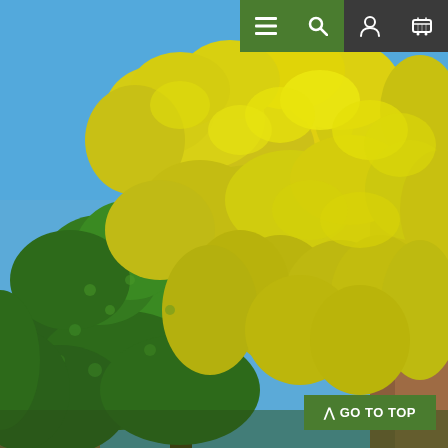[Figure (photo): A large tree in full bloom with bright yellow-green hanging flower clusters (possibly a laburnum tree) against a clear blue sky, with green foliage and a brick building visible in the background.]
Navigation bar with menu, search, account, and cart icons
^ GO TO TOP